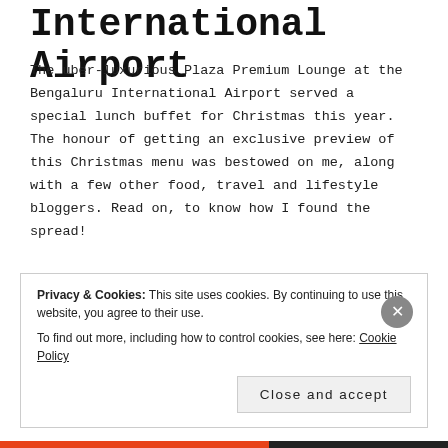International Airport
The uber-luxurious Plaza Premium Lounge at the Bengaluru International Airport served a special lunch buffet for Christmas this year. The honour of getting an exclusive preview of this Christmas menu was bestowed on me, along with a few other food, travel and lifestyle bloggers. Read on, to know how I found the spread!
*******************
Privacy & Cookies: This site uses cookies. By continuing to use this website, you agree to their use.
To find out more, including how to control cookies, see here: Cookie Policy
Close and accept